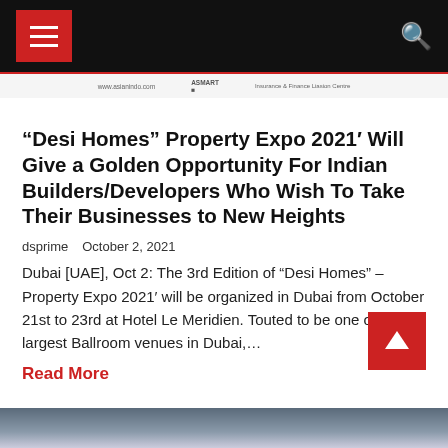Navigation bar with hamburger menu and search icon
[Figure (screenshot): Website banner/advertisement strip with logos and text: www.asianindo.com, ASMART logo, Insurance & Finance Liasion Centre]
“Desi Homes” Property Expo 2021’ Will Give a Golden Opportunity For Indian Builders/Developers Who Wish To Take Their Businesses to New Heights
dsprime   October 2, 2021
Dubai [UAE], Oct 2: The 3rd Edition of “Desi Homes” – Property Expo 2021’ will be organized in Dubai from October 21st to 23rd at Hotel Le Meridien. Touted to be one of the largest Ballroom venues in Dubai,…
Read More
[Figure (photo): Partial image of a person visible at the bottom of the page]